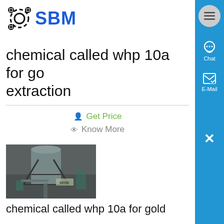[Figure (logo): SBM logo with gear icons and blue text]
chemical called whp 10a for gold extraction
Get Price
Know More
[Figure (photo): Industrial mining/processing equipment inside a factory building]
chemical called whp 10a for gold